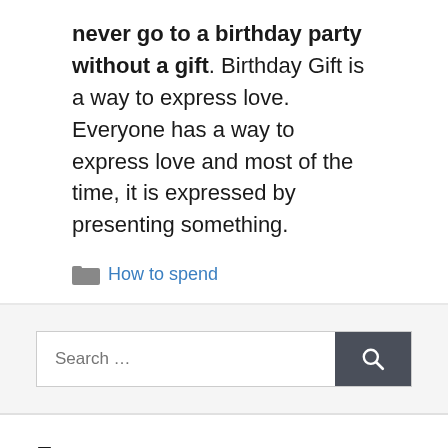never go to a birthday party without a gift. Birthday Gift is a way to express love. Everyone has a way to express love and most of the time, it is expressed by presenting something.
How to spend
[Figure (screenshot): Search bar with text placeholder 'Search ...' and a dark gray search button with magnifying glass icon]
From me
[Figure (photo): Partial photo of a person, cropped at bottom of page]